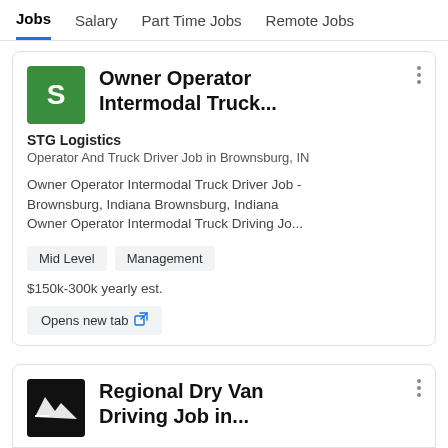Jobs  Salary  Part Time Jobs  Remote Jobs
Owner Operator Intermodal Truck...
STG Logistics
Operator And Truck Driver Job in Brownsburg, IN
Owner Operator Intermodal Truck Driver Job - Brownsburg, Indiana Brownsburg, Indiana Owner Operator Intermodal Truck Driving Jo...
Mid Level
Management
$150k-300k yearly est.
Opens new tab
Regional Dry Van Driving Job in...